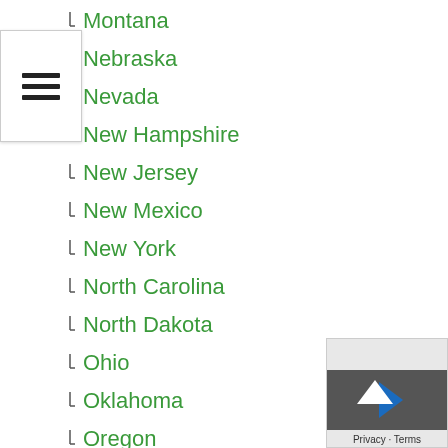Montana
Nebraska
Nevada
New Hampshire
New Jersey
New Mexico
New York
North Carolina
North Dakota
Ohio
Oklahoma
Oregon
Pennsylvania
Puerto Rico
Rhode Island
South Carolina
South Dakota
Tennessee
Texas
Utah
Vermont
Virginia
Washington
Washington DC